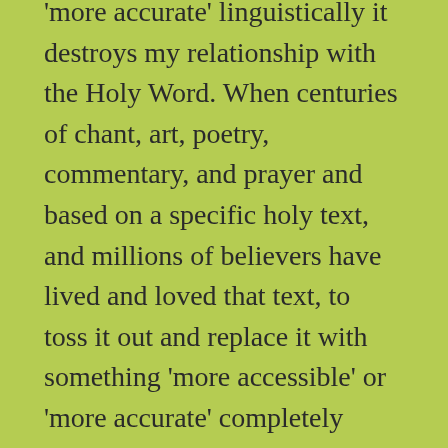'more accurate' linguistically it destroys my relationship with the Holy Word. When centuries of chant, art, poetry, commentary, and prayer and based on a specific holy text, and millions of believers have lived and loved that text, to toss it out and replace it with something 'more accessible' or 'more accurate' completely misses the point.

In the interests of love of my Holy Mother Church, here are the considerations of